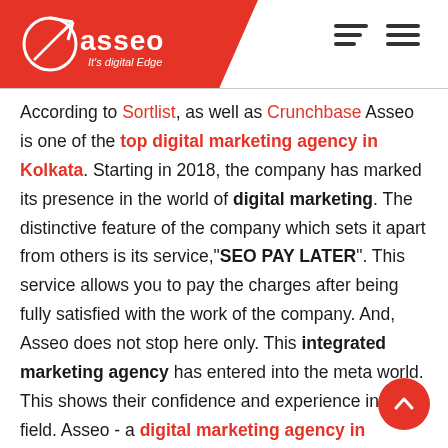Asseo - It's digital Edge [logo with hamburger menu]
According to Sortlist, as well as Crunchbase Asseo is one of the top digital marketing agency in Kolkata. Starting in 2018, the company has marked its presence in the world of digital marketing. The distinctive feature of the company which sets it apart from others is its service,"SEO PAY LATER". This service allows you to pay the charges after being fully satisfied with the work of the company. And, Asseo does not stop here only. This integrated marketing agency has entered into the meta world. This shows their confidence and experience in the field. Asseo - a digital marketing agency in Kolkata features on so many platforms like Clutch, Proven expert, Yourstory, and others.